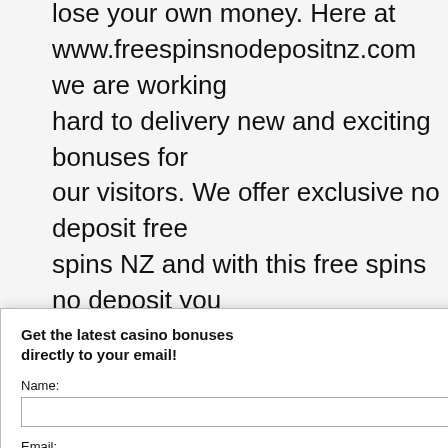lose your own money. Here at www.freespinsnodepositnz.com we are working hard to delivery new and exciting bonuses for our visitors. We offer exclusive no deposit free spins NZ and with this free spins no deposit you
[Figure (screenshot): Email subscription modal overlay with close button (X), title 'Get the latest casino bonuses directly to your email!', Name input field, Email input field, privacy notice with Privacy and Cookie policy link, email privacy link, and AWeber branding. Behind the modal: partial heading '...o Deposit NZ 2022', dark table with SPINS/BONUS headers showing 25 and 70x values, and partial promotional text about free spins on Fruit Monaco after registration with code FRUIT25 and a green button.]
Get the latest casino bonuses directly to your email!
Name:
Email:
By subscribing you are certifying that you have reviewed and accepted our updated Privacy and Cookie policy.
We respect your email privacy
Powered by AWeber Email Marketing
o Deposit NZ 2022
| SPINS | BONUS |
| --- | --- |
| 25 | - |
| 70x |  |
spins on Fruit Monaco
gistration
e: FRUIT25